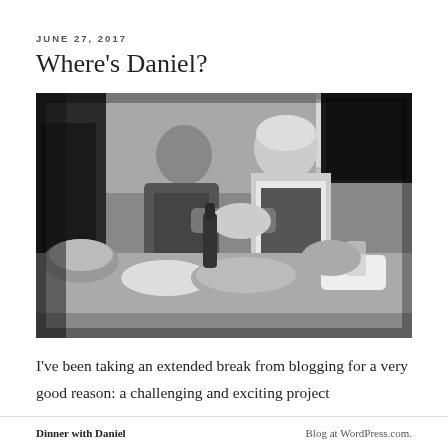JUNE 27, 2017
Where's Daniel?
[Figure (photo): Black and white photograph of two men standing in a kitchen, both wearing aprons. The younger man on the left is holding a plate of food, and the older man on the right with white hair and a beard is beside him. The kitchen counter in front of them is laden with bread, dishes of food, and a beer bottle.]
I've been taking an extended break from blogging for a very good reason: a challenging and exciting project
Dinner with Daniel   Blog at WordPress.com.